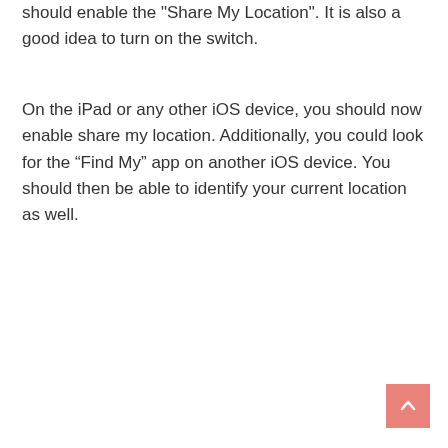should enable the "Share My Location". It is also a good idea to turn on the switch.
On the iPad or any other iOS device, you should now enable share my location. Additionally, you could look for the “Find My” app on another iOS device. You should then be able to identify your current location as well.